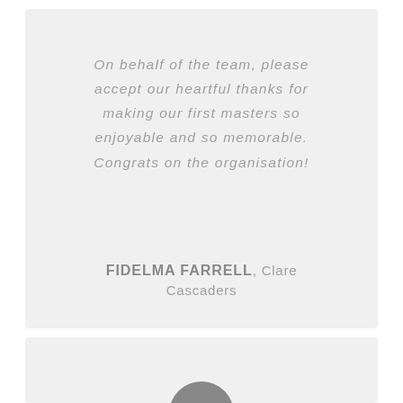On behalf of the team, please accept our heartful thanks for making our first masters so enjoyable and so memorable. Congrats on the organisation!
FIDELMA FARRELL, Clare Cascaders
[Figure (illustration): Partial gray avatar/person silhouette circle at the bottom of the second card, cropped at the bottom edge]